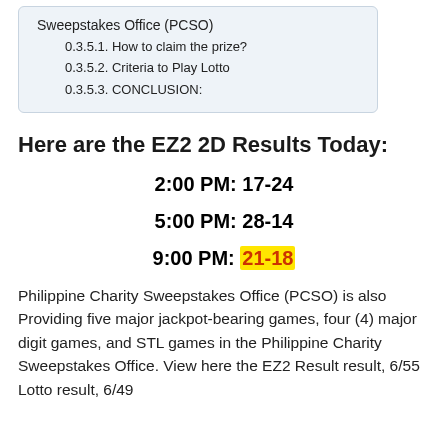Sweepstakes Office (PCSO)
0.3.5.1. How to claim the prize?
0.3.5.2. Criteria to Play Lotto
0.3.5.3. CONCLUSION:
Here are the EZ2 2D Results Today:
2:00 PM: 17-24
5:00 PM: 28-14
9:00 PM: 21-18
Philippine Charity Sweepstakes Office (PCSO) is also Providing five major jackpot-bearing games, four (4) major digit games, and STL games in the Philippine Charity Sweepstakes Office. View here the EZ2 Result result, 6/55 Lotto result, 6/49